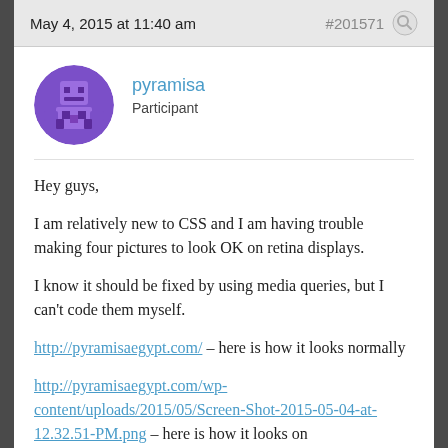May 4, 2015 at 11:40 am    #201571
[Figure (illustration): Purple circular avatar with a pixelated character graphic in shades of purple]
pyramisa
Participant
Hey guys,
I am relatively new to CSS and I am having trouble making four pictures to look OK on retina displays.
I know it should be fixed by using media queries, but I can't code them myself.
http://pyramisaegypt.com/ – here is how it looks normally
http://pyramisaegypt.com/wp-content/uploads/2015/05/Screen-Shot-2015-05-04-at-12.32.51-PM.png – here is how it looks on